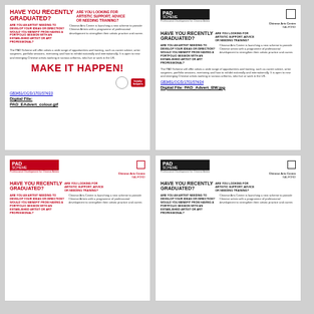[Figure (illustration): PAD Scheme colour advertisement - HAVE YOU RECENTLY GRADUATED? with MAKE IT HAPPEN! text]
GB3451/OC/D/1701/574/23
Digital File: PAD_EAdvert_colour.gif
[Figure (illustration): PAD Scheme black and white advertisement - HAVE YOU RECENTLY GRADUATED?]
GB3451/OC/D/1701/574/24
Digital File: PAD_Advert_BW.jpg
[Figure (illustration): PAD Scheme red/colour advertisement version 2]
[Figure (illustration): PAD Scheme dark advertisement version]